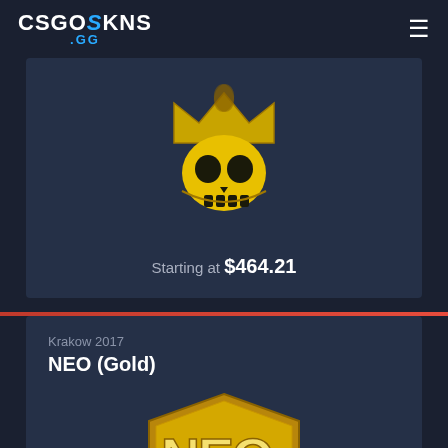CSGOSKINS .GG
Starting at $464.21
[Figure (illustration): Golden skull with crown sticker from CS:GO]
Krakow 2017
NEO (Gold)
[Figure (illustration): NEO Gold sticker from Krakow 2017 PGL Major]